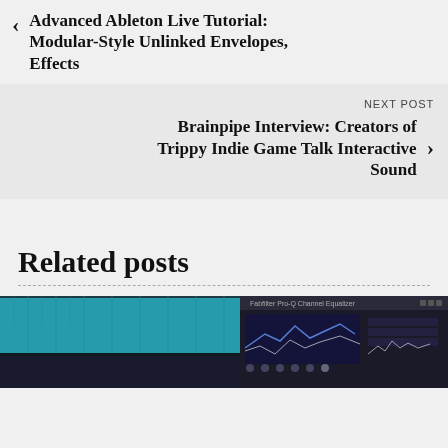Advanced Ableton Live Tutorial: Modular-Style Unlinked Envelopes, Effects
NEXT POST
Brainpipe Interview: Creators of Trippy Indie Game Talk Interactive Sound
Related posts
[Figure (screenshot): Screenshot of a digital audio workstation (DAW) interface showing teal/cyan colored tracks and a plugin window with waveform displays and controls]